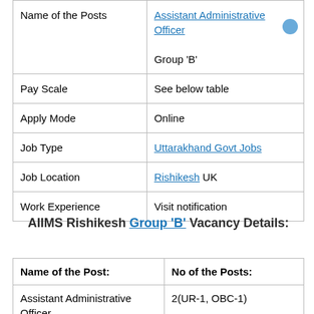|  |  |
| --- | --- |
| Name of the Posts | Assistant Administrative Officer
Group 'B' |
| Pay Scale | See below table |
| Apply Mode | Online |
| Job Type | Uttarakhand Govt Jobs |
| Job Location | Rishikesh UK |
| Work Experience | Visit notification |
AIIMS Rishikesh Group 'B' Vacancy Details:
| Name of the Post: | No of the Posts: |
| --- | --- |
| Assistant Administrative Officer | 2(UR-1, OBC-1) |